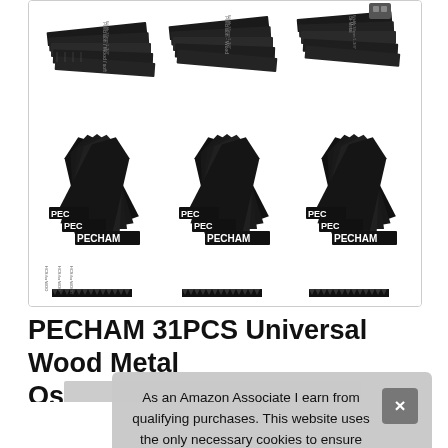[Figure (photo): Product photo showing multiple sets of PECHAM oscillating tool blades arranged in three groups, with both flat precision/wood cutting blades at top and plunge-cut saw blade sets at bottom, all branded PECHAM.]
PECHAM 31PCS Universal Wood Metal Oscillating Multitool Quick Release Blades for Fein Multimaster Bosch Makita Milwaukee Dewalt Black Decker Rockwell Ridgid Ryobi
As an Amazon Associate I earn from qualifying purchases. This website uses the only necessary cookies to ensure you get the best experience on our website. More information